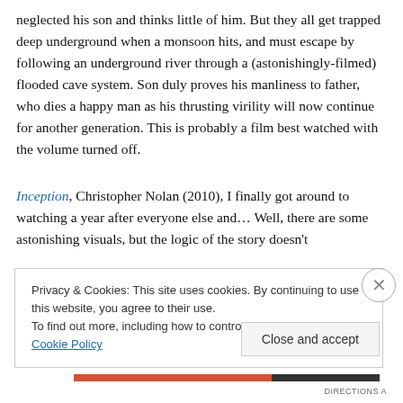neglected his son and thinks little of him. But they all get trapped deep underground when a monsoon hits, and must escape by following an underground river through a (astonishingly-filmed) flooded cave system. Son duly proves his manliness to father, who dies a happy man as his thrusting virility will now continue for another generation. This is probably a film best watched with the volume turned off.
Inception, Christopher Nolan (2010), I finally got around to watching a year after everyone else and… Well, there are some astonishing visuals, but the logic of the story doesn't
Privacy & Cookies: This site uses cookies. By continuing to use this website, you agree to their use.
To find out more, including how to control cookies, see here: Cookie Policy